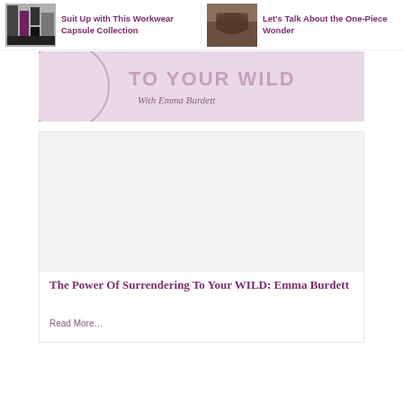[Figure (photo): Thumbnail image of workwear clothing collection with dark and colorful garments]
Suit Up with This Workwear Capsule Collection
[Figure (photo): Thumbnail image of a person in a one-piece outfit]
Let's Talk About the One-Piece Wonder
[Figure (other): Pink banner reading 'TO YOUR WILD With Emma Burdett' with decorative circle element]
[Figure (other): Article card with image placeholder for 'The Power Of Surrendering To Your WILD: Emma Burdett']
The Power Of Surrendering To Your WILD: Emma Burdett
Read More…